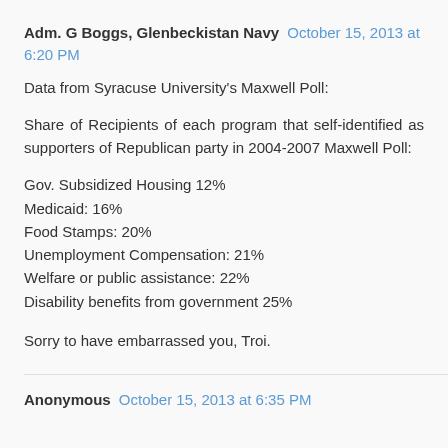Adm. G Boggs, Glenbeckistan Navy October 15, 2013 at 6:20 PM
Data from Syracuse University's Maxwell Poll:
Share of Recipients of each program that self-identified as supporters of Republican party in 2004-2007 Maxwell Poll:
Gov. Subsidized Housing 12%
Medicaid: 16%
Food Stamps: 20%
Unemployment Compensation: 21%
Welfare or public assistance: 22%
Disability benefits from government 25%
Sorry to have embarrassed you, Troi.
Anonymous October 15, 2013 at 6:35 PM